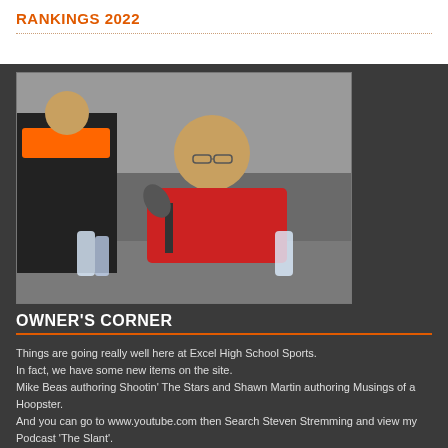RANKINGS 2022
[Figure (photo): Man in red polo shirt speaking at a table with microphone, another person in Anderson Ravens Baseball shirt visible in background]
OWNER'S CORNER
Things are going really well here at Excel High School Sports.
In fact, we have some new items on the site.
Mike Beas authoring Shootin' The Stars and Shawn Martin authoring Musings of a Hoopster.
And you can go to www.youtube.com then Search Steven Stremming and view my Podcast 'The Slant'.